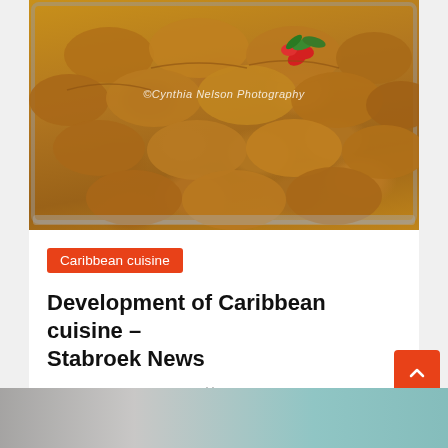[Figure (photo): A metal tray filled with golden-brown Caribbean patties/pastries, with a decorative red flower garnish on top. Watermark reads '©Cynthia Nelson Photography'.]
Caribbean cuisine
Development of Caribbean cuisine – Stabroek News
Michael M. Tomlin   April 18, 2015